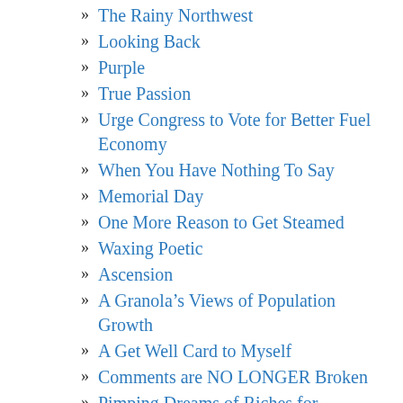The Rainy Northwest
Looking Back
Purple
True Passion
Urge Congress to Vote for Better Fuel Economy
When You Have Nothing To Say
Memorial Day
One More Reason to Get Steamed
Waxing Poetic
Ascension
A Granola's Views of Population Growth
A Get Well Card to Myself
Comments are NO LONGER Broken
Pimping Dreams of Riches for